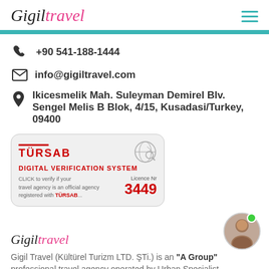Gigil Travel logo and navigation
+90 541-188-1444
info@gigiltravel.com
Ikicesmelik Mah. Suleyman Demirel Blv. Sengel Melis B Blok, 4/15, Kusadasi/Turkey, 09400
[Figure (other): TURSAB Digital Verification System badge with Licence Nr 3449]
[Figure (logo): Gigil Travel cursive logo at bottom left]
[Figure (photo): Circular avatar photo of a man with a green online status dot]
Gigil Travel (Kültürel Turizm LTD. ŞTi.) is an "A Group" professional travel agency operated by Urban Specialist...